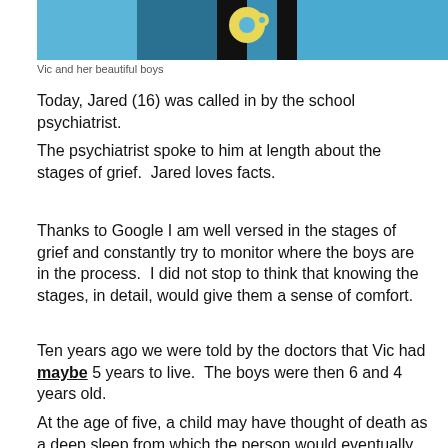[Figure (photo): Photo of Vic and her boys, people wearing blue shirts and floral top, cropped at top of page]
Vic and her beautiful boys
Today, Jared (16) was called in by the school psychiatrist.
The psychiatrist spoke to him at length about the stages of grief.  Jared loves facts.
Thanks to Google I am well versed in the stages of grief and constantly try to monitor where the boys are in the process.  I did not stop to think that knowing the stages, in detail, would give them a sense of comfort.
Ten years ago we were told by the doctors that Vic had maybe 5 years to live.  The boys were then 6 and 4 years old.
At the age of five, a child may have thought of death as a deep sleep from which the person would eventually